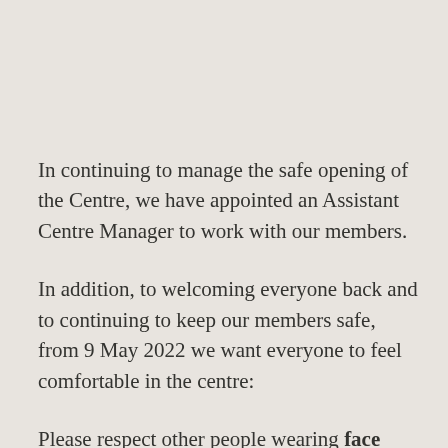In continuing to manage the safe opening of the Centre, we have appointed an Assistant Centre Manager to work with our members.
In addition, to welcoming everyone back and to continuing to keep our members safe, from 9 May 2022 we want everyone to feel comfortable in the centre:
Please respect other people wearing face masks/coverings whilst in the centre;